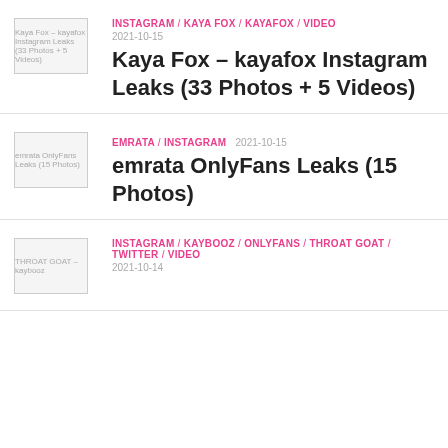Kaya Fox – kayafox Instagram Leaks (33 Photos + 5 Videos) | INSTAGRAM / KAYA FOX / KAYAFOX / VIDEO | 2021-10-15
emrata OnlyFans Leaks (15 Photos) | EMRATA / INSTAGRAM | 2021-10-15
THROAT GOAT – kaybooz | INSTAGRAM / KAYBOOZ / ONLYFANS / THROAT GOAT / TWITTER / VIDEO | 2021-10-14